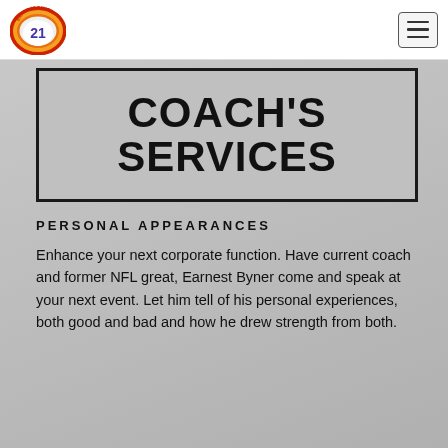[Figure (logo): Circular logo with the number 21 in the center, surrounded by red and orange flame-like shapes, with text around the ring.]
COACH'S SERVICES
PERSONAL APPEARANCES
Enhance your next corporate function. Have current coach and former NFL great, Earnest Byner come and speak at your next event. Let him tell of his personal experiences, both good and bad and how he drew strength from both.